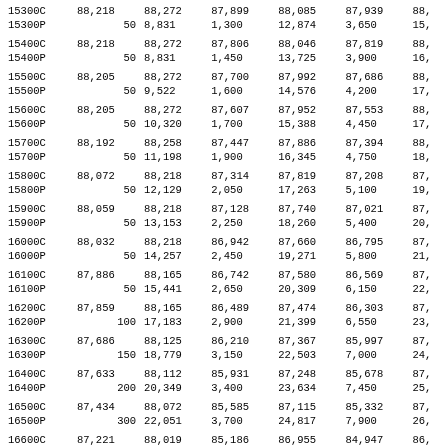| 15300C | 88,218 | 88,272 | 87,899 | 88,085 | 87,939 | 88, |
| 15300P | 50 | 8,831 | 1,300 | 12,874 | 3,650 | 15, |
| 15400C | 88,218 | 88,272 | 87,806 | 88,046 | 87,819 | 88, |
| 15400P | 50 | 8,831 | 1,450 | 13,725 | 3,900 | 16, |
| 15500C | 88,205 | 88,272 | 87,700 | 87,992 | 87,686 | 88, |
| 15500P | 50 | 9,522 | 1,600 | 14,576 | 4,200 | 17, |
| 15600C | 88,205 | 88,272 | 87,607 | 87,952 | 87,553 | 88, |
| 15600P | 50 | 10,320 | 1,700 | 15,388 | 4,450 | 17, |
| 15700C | 88,192 | 88,258 | 87,447 | 87,886 | 87,394 | 88, |
| 15700P | 50 | 11,198 | 1,900 | 16,345 | 4,750 | 18, |
| 15800C | 88,072 | 88,218 | 87,314 | 87,819 | 87,208 | 87, |
| 15800P | 50 | 12,129 | 2,050 | 17,263 | 5,100 | 19, |
| 15900C | 88,059 | 88,218 | 87,128 | 87,740 | 87,021 | 87, |
| 15900P | 50 | 13,153 | 2,250 | 18,260 | 5,400 | 20, |
| 16000C | 88,032 | 88,218 | 86,942 | 87,660 | 86,795 | 87, |
| 16000P | 50 | 14,257 | 2,450 | 19,271 | 5,800 | 21, |
| 16100C | 87,886 | 88,165 | 86,742 | 87,580 | 86,569 | 87, |
| 16100P | 50 | 15,441 | 2,650 | 20,309 | 6,150 | 22, |
| 16200C | 87,859 | 88,165 | 86,489 | 87,474 | 86,303 | 87, |
| 16200P | 100 | 17,183 | 2,900 | 21,399 | 6,550 | 23, |
| 16300C | 87,686 | 88,125 | 86,210 | 87,367 | 85,997 | 87, |
| 16300P | 150 | 18,779 | 3,150 | 22,503 | 7,000 | 24, |
| 16400C | 87,633 | 88,112 | 85,931 | 87,248 | 85,678 | 87, |
| 16400P | 200 | 20,349 | 3,400 | 23,634 | 7,450 | 25, |
| 16500C | 87,434 | 88,072 | 85,585 | 87,115 | 85,332 | 87, |
| 16500P | 300 | 22,051 | 3,700 | 24,817 | 7,900 | 26, |
| 16600C | 87,221 | 88,019 | 85,186 | 86,955 | 84,947 | 86, |